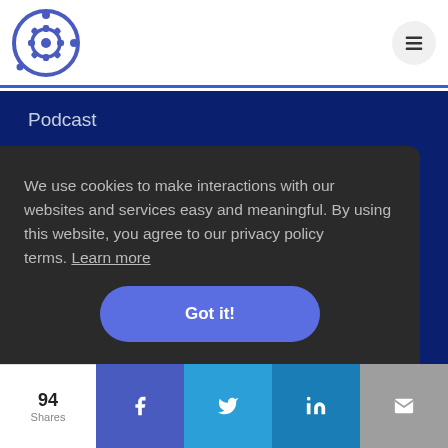Logo and hamburger menu navigation header
Podcast
Job Board
PLANS
Pricing
We use cookies to make interactions with our websites and services easy and meaningful. By using this website, you agree to our privacy policy terms. Learn more
Got it!
94 Shares | Facebook | Twitter | LinkedIn | Email